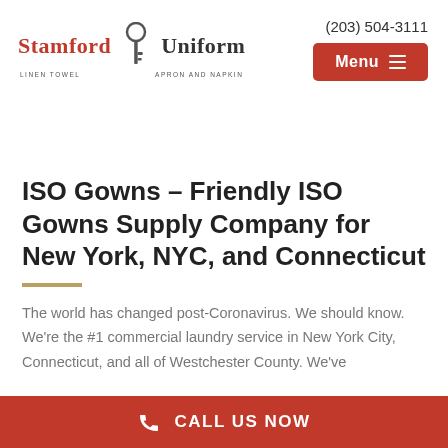[Figure (logo): Stamford Uniform logo with key graphic, tagline: Linen Towel Apron and Napkin]
(203) 504-3111
[Figure (other): Red Menu button with hamburger icon]
ISO Gowns – Friendly ISO Gowns Supply Company for New York, NYC, and Connecticut
The world has changed post-Coronavirus. We should know. We're the #1 commercial laundry service in New York City, Connecticut, and all of Westchester County. We've
CALL US NOW